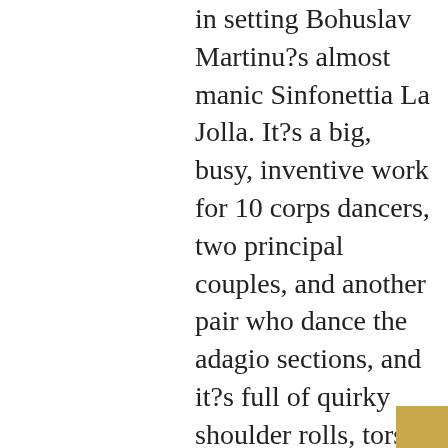in setting Bohuslav Martinu?s almost manic Sinfonettia La Jolla. It?s a big, busy, inventive work for 10 corps dancers, two principal couples, and another pair who dance the adagio sections, and it?s full of quirky shoulder rolls, torso ripples, and floorwork. But ?Rush? illuminates the score only in fragments, and it suffers a confusion of tone. In one key image, repeated throughout and used as the closing tableau, the men place their partners on the floor with the women?s hands pushing against the ground. Is this merely quirky or disturbing? You can?t get a clear sense of Wheeldon?s ?take? on the music to guide you.

No matter, the dancers looked ravishing. Katita Waldo and Damian